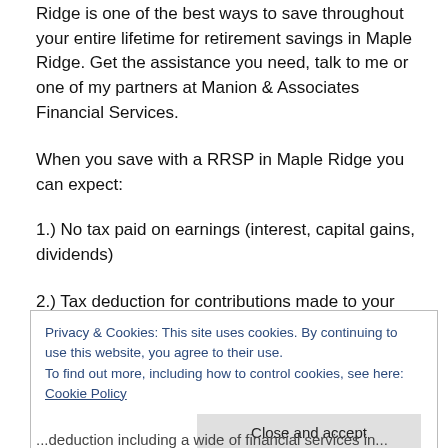Ridge is one of the best ways to save throughout your entire lifetime for retirement savings in Maple Ridge. Get the assistance you need, talk to me or one of my partners at Manion & Associates Financial Services.
When you save with a RRSP in Maple Ridge you can expect:
1.) No tax paid on earnings (interest, capital gains, dividends)
2.) Tax deduction for contributions made to your RRSP in
Privacy & Cookies: This site uses cookies. By continuing to use this website, you agree to their use. To find out more, including how to control cookies, see here: Cookie Policy
Close and accept
...deduction including a wide of financial services in...